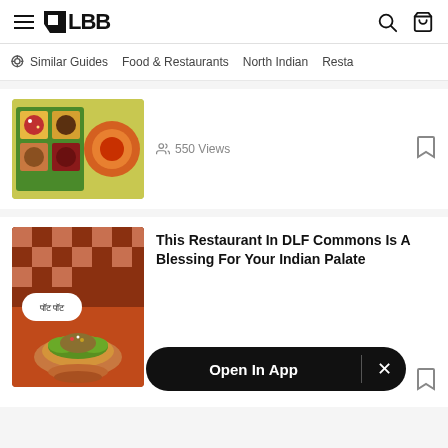LBB
Similar Guides   Food & Restaurants   North Indian   Resta
[Figure (photo): Box of sweets and desserts on a yellow-green background]
550 Views
[Figure (photo): Restaurant interior with checkered decor and a paan or food item on a plate garnished with green leaves]
This Restaurant In DLF Commons Is A Blessing For Your Indian Palate
Open In App  ×